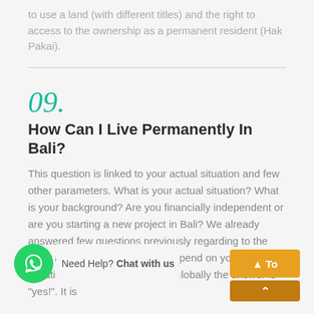to use a land (with different titles) and the right to access to the ownership as a permanent resident (Hak Pakai).
09.
How Can I Live Permanently In Bali?
This question is linked to your actual situation and few other parameters. What is your actual situation? What is your background? Are you financially independent or are you starting a new project in Bali? We already answered few questions previously regarding to the visas and permanently, now all will depend on your personal situation and your projects. But globally the answer is "yes!". It is